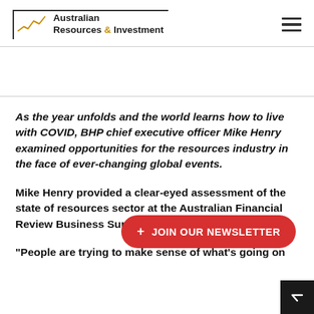Australian Resources & Investment
As the year unfolds and the world learns how to live with COVID, BHP chief executive officer Mike Henry examined opportunities for the resources industry in the face of ever-changing global events.
Mike Henry provided a clear-eyed assessment of the state of resources sector at the Australian Financial Review Business Summit in March.
"People are trying to make sense of what's going on the world and..." the BHP chief executive officer